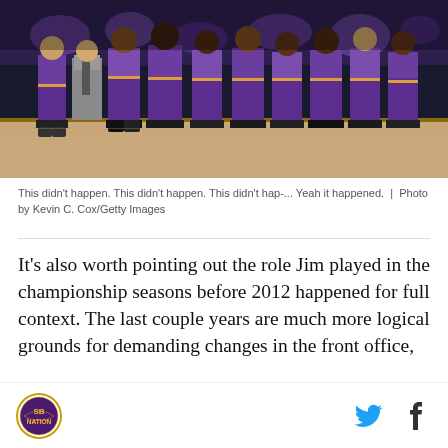[Figure (photo): Lakers players and coach standing on basketball court sideline during game, wearing purple and gold uniforms]
This didn't happen. This didn't happen. This didn't hap-... Yeah it happened.  |  Photo by Kevin C. Cox/Getty Images
It's also worth pointing out the role Jim played in the championship seasons before 2012 happened for full context. The last couple years are much more logical grounds for demanding changes in the front office,
[Figure (logo): SB Nation circular logo]
[Figure (illustration): Twitter bird social media icon]
[Figure (illustration): Facebook f social media icon]